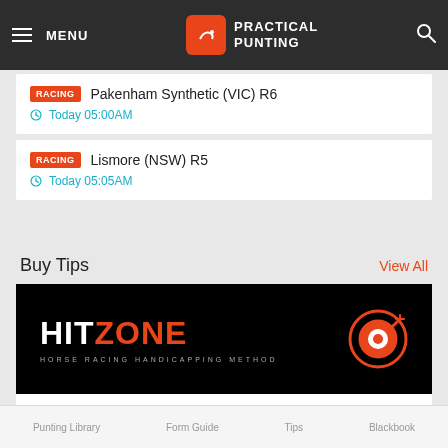MENU | PRACTICAL PUNTING
RACING — Pakenham Synthetic (VIC) R6
Today 05:00AM
RACING — Lismore (NSW) R5
Today 05:05AM
Buy Tips
View All
[Figure (logo): HitZone — Horse Racing Handicapping Method banner. Black background with 'HITZONE' in white/orange bold text and an orange target/bullseye icon on the right.]
HitZone
$150
Punting Library   Form Guide   Tips   Blackbook